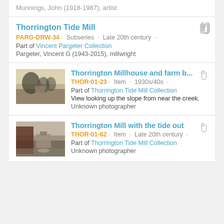Munnings, John (1918-1987), artist
Thorrington Tide Mill
PARG-DRW-34 · Subseries · Late 20th century ·
Part of Vincent Pargeter Collection
Pargeter, Vincent G (1943-2015), millwright
[Figure (photo): Old photograph of Thorrington Millhouse and farm buildings, 1930s/40s, view looking up slope from near creek]
Thorrington Millhouse and farm b...
THOR-01-23 · Item · 1930s/40s ·
Part of Thorrington Tide Mill Collection
View looking up the slope from near the creek.
Unknown photographer
[Figure (photo): Photograph of Thorrington Mill with the tide out, late 20th century]
Thorrington Mill with the tide out
THOR-01-62 · Item · Late 20th century ·
Part of Thorrington Tide Mill Collection
Unknown photographer